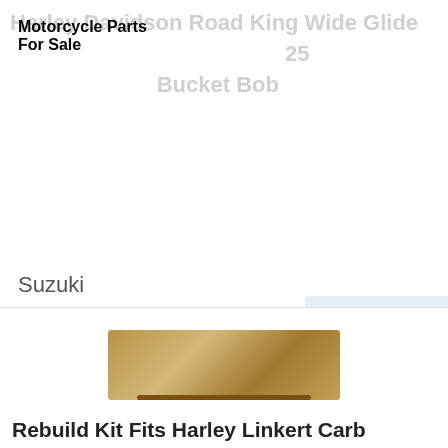Motorcycle Parts For Sale
Suzuki
Yamaha
Kawasaki
Harley Davidson
Harley
Vintage
[Figure (photo): Metal carburetor rebuild kit parts on a surface]
Rebuild Kit Fits Harley Linkert Carb